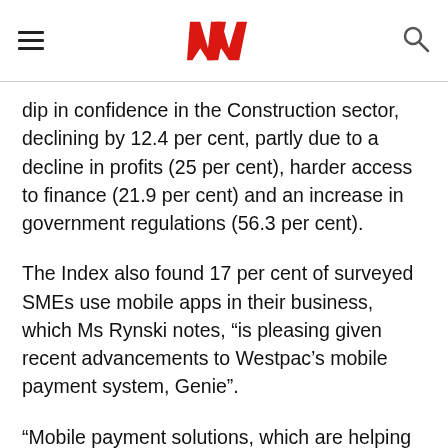Westpac logo, navigation menu, search icon
dip in confidence in the Construction sector, declining by 12.4 per cent, partly due to a decline in profits (25 per cent), harder access to finance (21.9 per cent) and an increase in government regulations (56.3 per cent).
The Index also found 17 per cent of surveyed SMEs use mobile apps in their business, which Ms Rynski notes, “is pleasing given recent advancements to Westpac’s mobile payment system, Genie”.
“Mobile payment solutions, which are helping businesses get paid faster and are a good example of how SMEs can transform their operations. Through mobile payment systems like Genie our